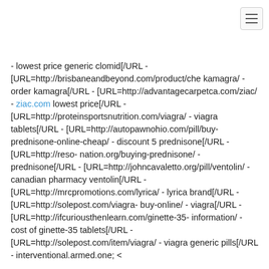- lowest price generic clomid[/URL - [URL=http://brisbaneandbeyond.com/product/chekamagra/ - order kamagra[/URL - [URL=http://advantagecarpetca.com/ziac/ - ziac.com lowest price[/URL - [URL=http://proteinsportsnutrition.com/viagra/ - viagra tablets[/URL - [URL=http://autopawnohio.com/pill/buy-prednisone-online-cheap/ - discount 5 prednisone[/URL - [URL=http://reso-nation.org/buying-prednisone/ - prednisone[/URL - [URL=http://johncavaletto.org/pill/ventolin/ - canadian pharmacy ventolin[/URL - [URL=http://mrcpromotions.com/lyrica/ - lyrica brand[/URL - [URL=http://solepost.com/viagra-buy-online/ - viagra[/URL - [URL=http://ifcuriousthenlearn.com/ginette-35-information/ - cost of ginette-35 tablets[/URL - [URL=http://solepost.com/item/viagra/ - viagra generic pills[/URL - interventional.armed.one; <